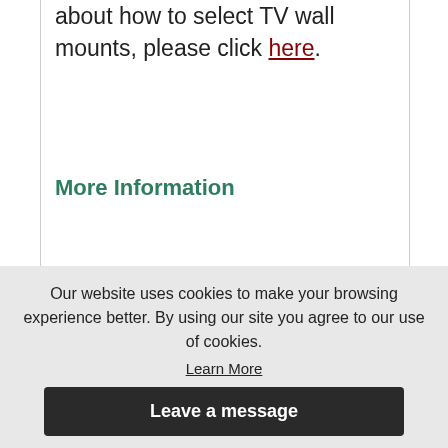about how to select TV wall mounts, please click here.
More Information
[Figure (photo): Product engineering diagram showing front and side view of a TV wall mount bracket with dimension annotation 6.30" [160mm]]
Our website uses cookies to make your browsing experience better. By using our site you agree to our use of cookies.
Learn More
Leave a message